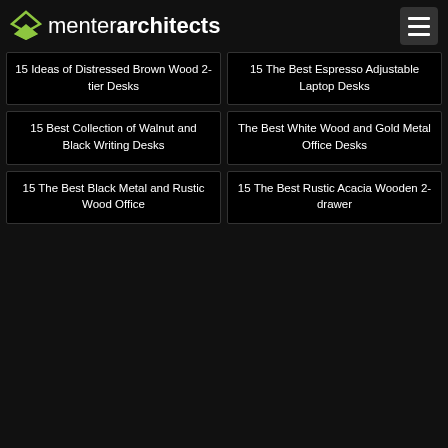menterarchitects
15 Ideas of Distressed Brown Wood 2-tier Desks
15 The Best Espresso Adjustable Laptop Desks
15 Best Collection of Walnut and Black Writing Desks
The Best White Wood and Gold Metal Office Desks
15 The Best Black Metal and Rustic Wood Office
15 The Best Rustic Acacia Wooden 2-drawer